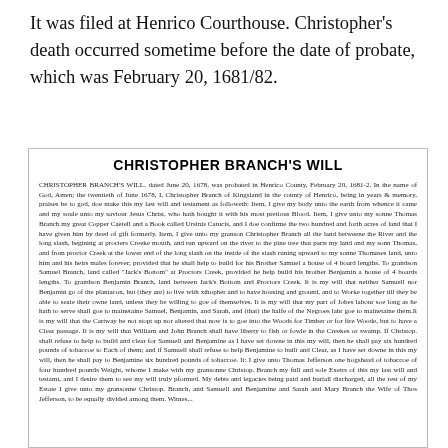It was filed at Henrico Courthouse. Christopher's death occurred sometime before the date of probate, which was February 20, 1681/82.
CHRISTOPHER BRANCH'S WILL
CHRISTOPHER BRANCH'S WILL, dated June 20, 1678, was probated in Henrico County, February 20, 1681-2. In the name of God, Amen; the twentieth of June 1678, I, Christopher Branch of Kingsland in the county of Henrico, being in years & memory, praises be to god, doe make this my last will and testament as followeth: Item, I give my body unto the earth from whence it came and my soule unto my saviour Jesus Christ, who hath bought it with his most pretious Blood. Item, I give unto my sonne Thomas Branch my great Copper Caetell and a Book called Ursinis Catucis, and I doe confirme the two hundred and forth acres of land that I have given him by deed of gift formerly. Item, I give unto my granson Christopher Branch all the land betweene the River and the long slash, begining at procters Creeke mouth, and run upward on the river to the pine tree that parts my land and my sonn Thomas, and from proctor Creek at the lower end of the long slash on the inside of the slash runing upward to my sonne Thomases land, unto him and his heirs males forever; provided that he shall help to build for his Brother Samuel a house of 4 board lengths. To grandson Samuel Branch, land called "Jack's Bottom" at Proctors Creek, provided he help build his brother Benjamin a house of 4 boards lengths. To grandson Benjamin Branch, land between Jack's Bottom and Proctors Creek. It is my will that neither Samuell nor Benjamin go of the plantacon, but (they are) to live with xthopher and to have housing and ground, and to Worke together till they be able to seate their owne land, unless they be willing to goe of themselves. It is my will that my part of Jobes labour soe long as he hath to serve shall goe to mainetaine Samuel, Benjamin, and Sarah, and (that) the halfe of the Negroes labr goe to mainetaine them. It is my will that the Cartway be not stopt up nor altered that now is to goe into the Woods for Timber or for fire Woode, but to have a Clear passage. It is my will that William and John Branch shall have liberty to fish or fowle in the Creekes or swamp. If Christop. shall refuse to help to build and clear for Samuell and Benjamine as I have set downe in this my will, then he shall pay six hundred pounds of tobaccoe to Each of them; and if Samuell shall refuse to help Benjamine to built and Clear, as I have set downe in this my will, then he shall pay to Benjamine six hundred pounds of tobaccoe. It: I give unto Thomas Jefferson one hogshead of tobaccoe of four hundred pounds Weight, whome I make with my gransonne Christop. Branch my full and sole Exetrs of this my last will and testamt, and I desire them to see my will truly pformed. My debts and legacies being paid and buriall discharged, all the rest of my Estate I give unto my gransonne Christop. Branch, and Samuell and Benjamine and Sarah and Mary Branch the Wife of Thos Jefferson, to be equally divided among them. Witnes...